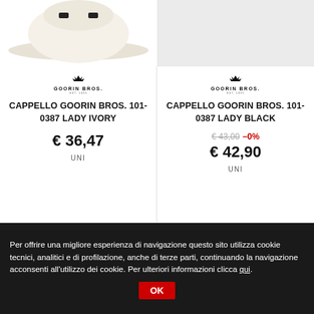[Figure (photo): Partial image of Goorin Bros hat in ivory/white color, cropped at top]
[Figure (photo): Partial image of Goorin Bros hat in black color on grey background, cropped at top]
[Figure (logo): Goorin Bros logo with crown icon - left product]
CAPPELLO GOORIN BROS. 101-0387 LADY IVORY
€ 36,47
UNI
[Figure (logo): Goorin Bros logo with crown icon - right product]
CAPPELLO GOORIN BROS. 101-0387 LADY BLACK
€ 43,00 -0%
€ 42,90
UNI
Per offrire una migliore esperienza di navigazione questo sito utilizza cookie tecnici, analitici e di profilazione, anche di terze parti, continuando la navigazione acconsenti all'utilizzo dei cookie. Per ulteriori informazioni clicca qui. OK